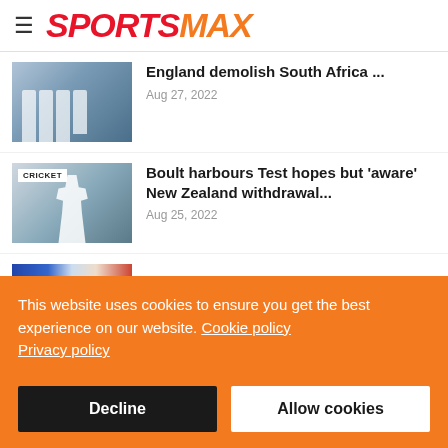SPORTSMAX
England demolish South Africa ...
Aug 27, 2022
[Figure (photo): Cricket players in white England jerseys grouped together]
Boult harbours Test hopes but 'aware' New Zealand withdrawal...
Aug 25, 2022
[Figure (photo): Cricket player in white uniform, CRICKET tag overlay]
[Figure (photo): Partial view of a rugby or sport match photo cropped at bottom]
This website uses cookies to ensure you get the best experience on our website. Cookie policy
Privacy policy
Decline
Allow cookies